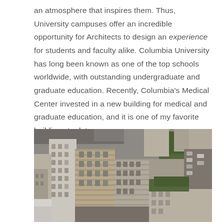an atmosphere that inspires them. Thus, University campuses offer an incredible opportunity for Architects to design an experience for students and faculty alike. Columbia University has long been known as one of the top schools worldwide, with outstanding undergraduate and graduate education. Recently, Columbia's Medical Center invested in a new building for medical and graduate education, and it is one of my favorite buildings to date.
[Figure (photo): Aerial photograph of Columbia University Medical Center campus buildings, showing urban Manhattan streetscape with tall brick and concrete buildings, streets, parked cars, and trees.]